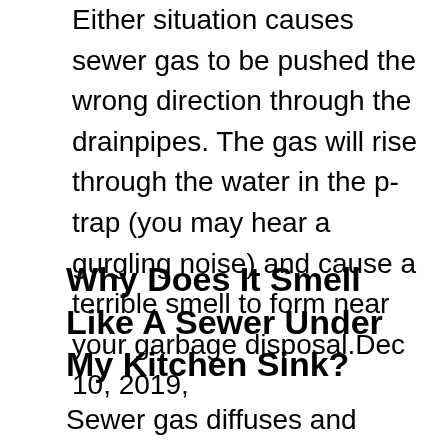Either situation causes sewer gas to be pushed the wrong direction through the drainpipes. The gas will rise through the water in the p-trap (you may hear a gurgling noise) and cause a terrible smell to form near your garbage disposal.Dec 10, 2019,
Why Does It Smell Like A Sewer Under My Kitchen Sink?
Sewer gas diffuses and mixes with indoor air, and will be most concentrated where it